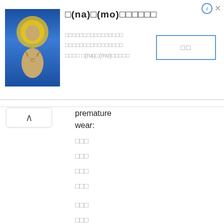[Figure (screenshot): Mobile app advertisement banner showing a Buddha statue image on blue background, title text with (na) and (mo) romanization placeholders for CJK characters, descriptive CJK text, and a CJK button with blue border on the right. Info and close icons in top right corner.]
[Figure (screenshot): Collapse/chevron up button (^) in a rounded rectangle on the left side below the ad banner.]
premature wear:
□□□
□□□
□□□
□□□
□□□
□□□
Snow and ice are hard on a car's